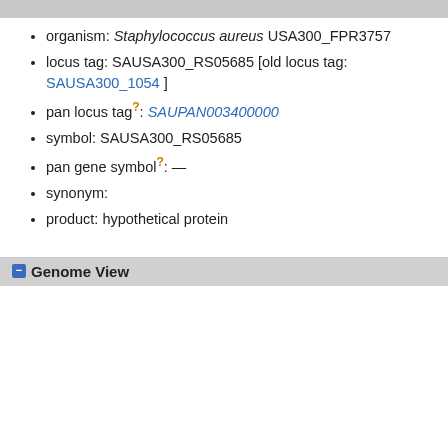organism: Staphylococcus aureus USA300_FPR3757
locus tag: SAUSA300_RS05685 [old locus tag: SAUSA300_1054 ]
pan locus tag?: SAUPAN003400000
symbol: SAUSA300_RS05685
pan gene symbol?: —
synonym:
product: hypothetical protein
Genome View